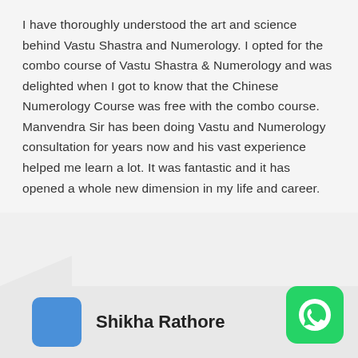I have thoroughly understood the art and science behind Vastu Shastra and Numerology. I opted for the combo course of Vastu Shastra & Numerology and was delighted when I got to know that the Chinese Numerology Course was free with the combo course. Manvendra Sir has been doing Vastu and Numerology consultation for years now and his vast experience helped me learn a lot. It was fantastic and it has opened a whole new dimension in my life and career.
Shikha Rathore